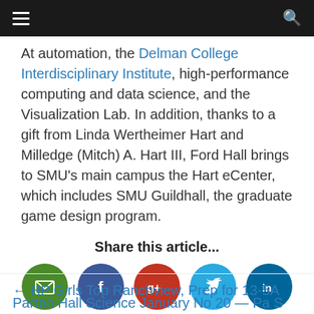Navigation bar with hamburger menu and search icon
At automation, the Delman College Interdisciplinary Institute, high-performance computing and data science, and the Visualization Lab. In addition, thanks to a gift from Linda Wertheimer Hart and Milledge (Mitch) A. Hart III, Ford Hall brings to SMU's main campus the Hart eCenter, which includes SMU Guildhall, the graduate game design program.
Share this article...
[Figure (infographic): Social share icons: email (green), Facebook (dark blue), Google+ (red), Twitter (light blue), LinkedIn (dark blue)]
← HP Girls Top Ranchview, Prep for 13-5A
Parton Hall Science January No 20 — Pa C